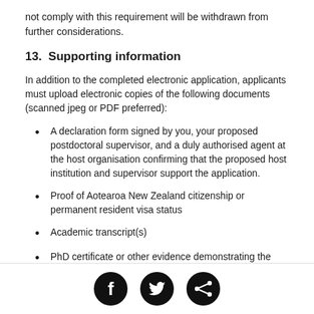not comply with this requirement will be withdrawn from further considerations.
13.  Supporting information
In addition to the completed electronic application, applicants must upload electronic copies of the following documents (scanned jpeg or PDF preferred):
A declaration form signed by you, your proposed postdoctoral supervisor, and a duly authorised agent at the host organisation confirming that the proposed host institution and supervisor support the application.
Proof of Aotearoa New Zealand citizenship or permanent resident visa status
Academic transcript(s)
PhD certificate or other evidence demonstrating the date your PhD was conferred (max 1 page).
[Figure (other): Footer with three social media icons: Facebook, Twitter, and Share (circular black icons)]